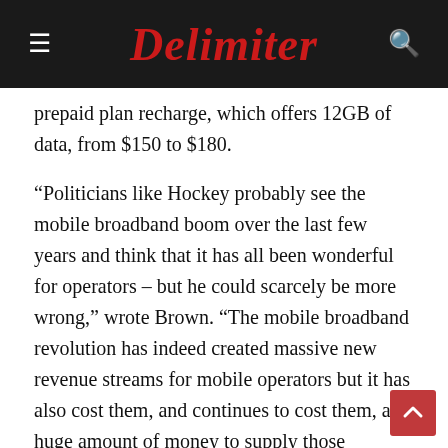Delimiter
prepaid plan recharge, which offers 12GB of data, from $150 to $180.
“Politicians like Hockey probably see the mobile broadband boom over the last few years and think that it has all been wonderful for operators – but he could scarcely be more wrong,” wrote Brown. “The mobile broadband revolution has indeed created massive new revenue streams for mobile operators but it has also cost them, and continues to cost them, a huge amount of money to supply those services by deploying ever more extensive 3G/4G networks to meet the booming demand from subscribers for mobile broadband.” All of Australia’s major mobile operators are continuing to plough investment into their 3G/4G mobile networks, in an effort to continue to keep ahead of growing subscriber numbers, which